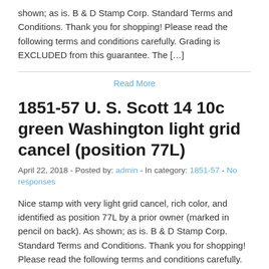shown; as is. B & D Stamp Corp. Standard Terms and Conditions. Thank you for shopping! Please read the following terms and conditions carefully. Grading is EXCLUDED from this guarantee. The […]
Read More
1851-57 U. S. Scott 14 10c green Washington light grid cancel (position 77L)
April 22, 2018 - Posted by: admin - In category: 1851-57 - No responses
Nice stamp with very light grid cancel, rich color, and identified as position 77L by a prior owner (marked in pencil on back). As shown; as is. B & D Stamp Corp. Standard Terms and Conditions. Thank you for shopping! Please read the following terms and conditions carefully. Grading is EXCLUDED from this guarantee. The […]